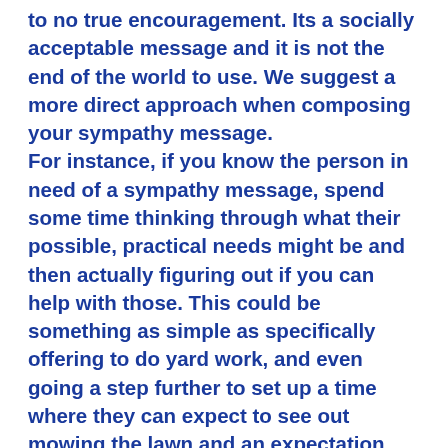to no true encouragement. Its a socially acceptable message and it is not the end of the world to use. We suggest a more direct approach when composing your sympathy message.
For instance, if you know the person in need of a sympathy message, spend some time thinking through what their possible, practical needs might be and then actually figuring out if you can help with those. This could be something as simple as specifically offering to do yard work, and even going a step further to set up a time where they can expect to see out mowing the lawn and an expectation that they don't have to do anything.
It could even be as thoughtful as helping financially or asking what nights would work for you to provide them dinner. The truth is, a thoughtful offer of practical, specific help shows a deeper message than just the tangible offer. It shows the person that they are seen,